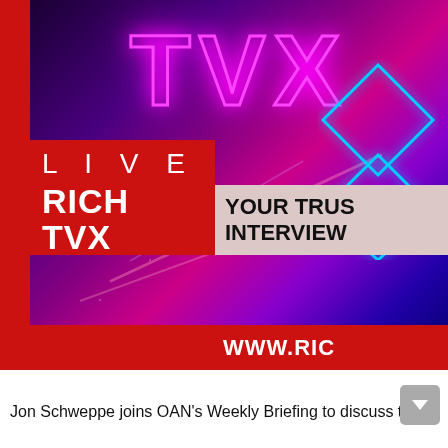[Figure (screenshot): Television broadcast screen showing Rich TVX Live channel with neon purple/pink gradient background showing large 'TVX' letters in neon outline. Below is a red band with 'LIVE' text and 'RICH TVX' logo on the left, and 'YOUR TRUSTED INTERVIEW' text on a light pink panel on the right, with 'WWW.RIC' text on a red band below that.]
Jon Schweppe joins OAN's Weekly Briefing to discuss the